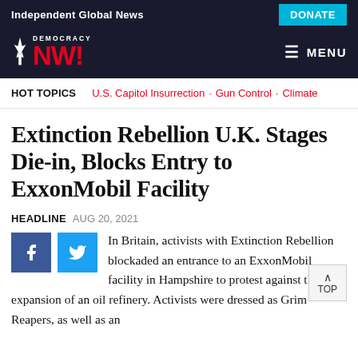Independent Global News
[Figure (logo): Democracy Now! logo with Statue of Liberty icon in red and white on dark background]
HOT TOPICS   U.S. Capitol Insurrection · Gun Control · Climate
Extinction Rebellion U.K. Stages Die-in, Blocks Entry to ExxonMobil Facility
HEADLINE  AUG 20, 2021
In Britain, activists with Extinction Rebellion blockaded an entrance to an ExxonMobil facility in Hampshire to protest against the expansion of an oil refinery. Activists were dressed as Grim Reapers, as well as an